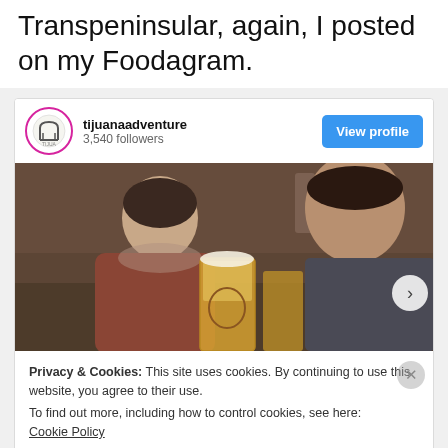Transpeninsular, again, I posted on my Foodagram.
[Figure (screenshot): Instagram-style social media card showing profile 'tijuanaadventure' with 3,540 followers, a 'View profile' button, and a photo of two men at a bar with beer glasses. Below the photo is a cookie consent banner reading 'Privacy & Cookies: This site uses cookies. By continuing to use this website, you agree to their use. To find out more, including how to control cookies, see here: Cookie Policy' with a 'Close and accept' button.]